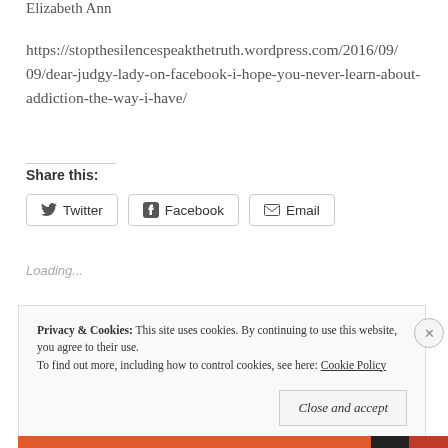Elizabeth Ann
https://stopthesilencespeakthetruth.wordpress.com/2016/09/09/dear-judgy-lady-on-facebook-i-hope-you-never-learn-about-addiction-the-way-i-have/
Share this:
Twitter  Facebook  Email
Loading...
Privacy & Cookies: This site uses cookies. By continuing to use this website, you agree to their use.
To find out more, including how to control cookies, see here: Cookie Policy
Close and accept